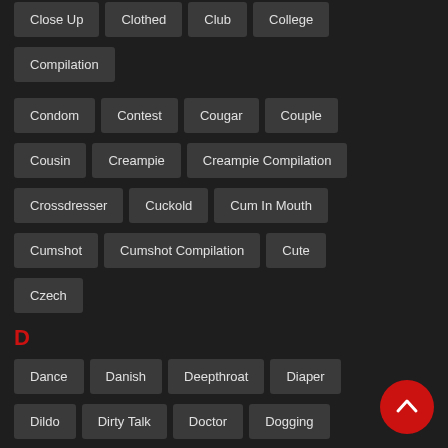Close Up | Clothed | Club | College
Compilation
Condom | Contest | Cougar | Couple
Cousin | Creampie | Creampie Compilation
Crossdresser | Cuckold | Cum In Mouth
Cumshot | Cumshot Compilation | Cute
Czech
D
Dance | Danish | Deepthroat | Diaper
Dildo | Dirty Talk | Doctor | Dogging
Doll | Domination | Dorm | Double Anal
Double Penetration | Downblouse | Dress